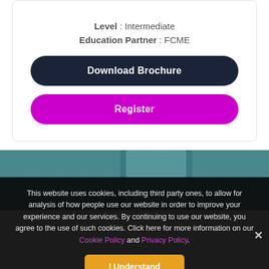Level : Intermediate
Education Partner : FCME
Download Brochure
Register
[Figure (photo): Teal-tinted photo of a building or corridor with glass panels]
This website uses cookies, including third party ones, to allow for analysis of how people use our website in order to improve your experience and our services. By continuing to use our website, you agree to the use of such cookies. Click here for more information on our Cookie Policy and Privacy Policy.
I Understand